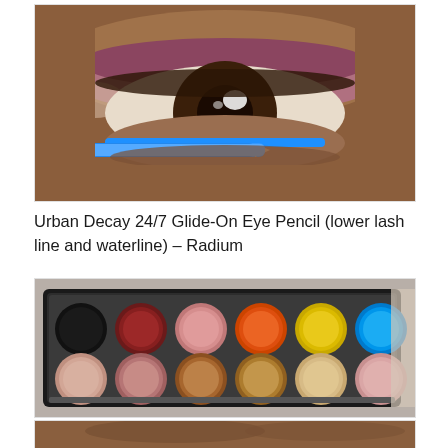[Figure (photo): Close-up photo of a person's eye with a blue eyeliner pencil being applied to the lower waterline. The eye has dark brown iris and the skin is dark. A blue pencil is visible being drawn along the lower lash line.]
Urban Decay 24/7 Glide-On Eye Pencil (lower lash line and waterline) – Radium
[Figure (photo): Photo of an eyeshadow palette with two rows of circular pans. Top row contains darker shades: black, deep red, pink, orange, yellow-gold, and blue. Bottom row contains shimmer shades: light pink, mauve-pink, copper, bronze-gold, champagne, and light pink.]
[Figure (photo): Partial close-up photo of a person's forehead and brow area with dark skin, cropped at the bottom of the page.]